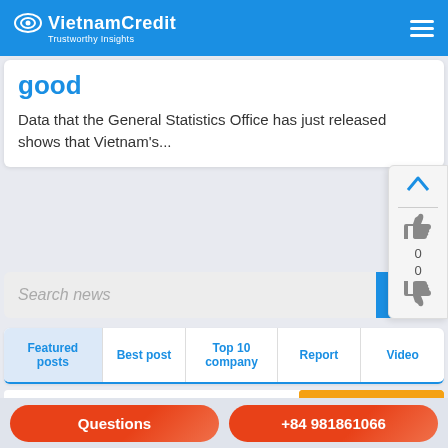VietnamCredit — Trustworthy Insights
good
Data that the General Statistics Office has just released shows that Vietnam's...
Search news
Featured posts | Best post | Top 10 company | Report | Video
Country report 2022 – FULL VERSION
[Figure (screenshot): Country Report 2022 promotional banner with orange background and teal/blue book image]
Questions | +84 981861066